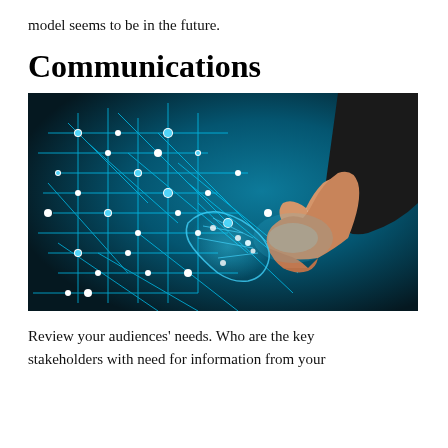model seems to be in the future.
Communications
[Figure (photo): A human hand shaking hands with a digital/AI hand made of glowing blue circuit board patterns, on a dark teal background, symbolizing human-technology partnership in communications.]
Review your audiences' needs. Who are the key stakeholders with need for information from your